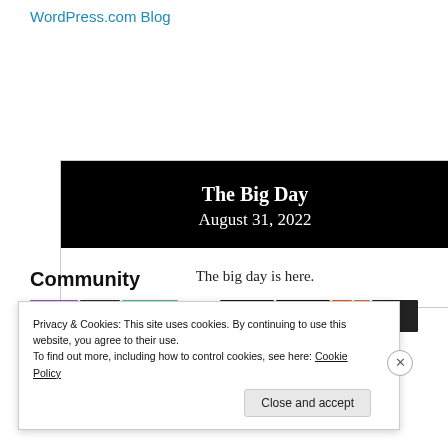WordPress.com Blog
[Figure (other): Blog post card with black header showing 'The Big Day' title, 'August 31, 2022' date, and white body with text 'The big day is here.']
Community
[Figure (other): Community section showing colorful thumbnail images for various blog posts]
Privacy & Cookies: This site uses cookies. By continuing to use this website, you agree to their use.
To find out more, including how to control cookies, see here: Cookie Policy
Close and accept